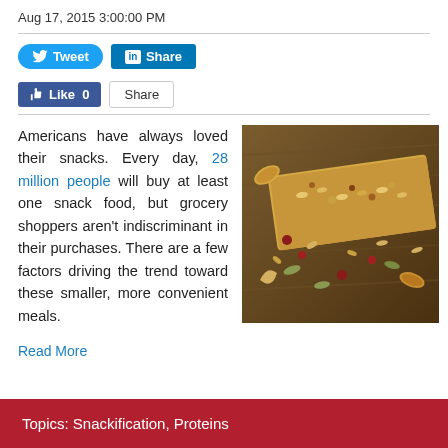Aug 17, 2015 3:00:00 PM
[Figure (photo): A granola/nut bar with mixed nuts and seeds scattered on a wooden surface]
Americans have always loved their snacks. Every day, 28 million people will buy at least one snack food, but grocery shoppers aren't indiscriminant in their purchases. There are a few factors driving the trend toward these smaller, more convenient meals.
Read More
Topics: Snackification, Proteins